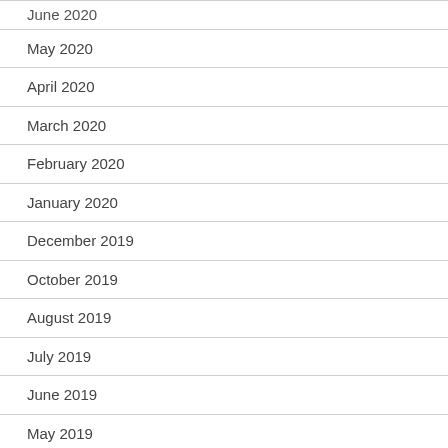June 2020
May 2020
April 2020
March 2020
February 2020
January 2020
December 2019
October 2019
August 2019
July 2019
June 2019
May 2019
April 2019
March 2019